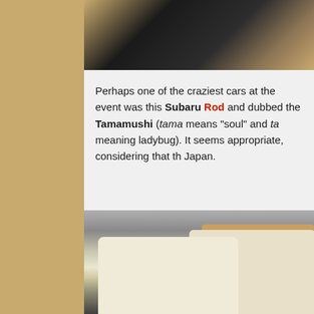[Figure (photo): Partial view of car undercarriage/wheels on dark background, showing wheel and chrome rim detail]
Perhaps one of the craziest cars at the event was this Subaru 360 Hot Rod and dubbed the Tamamushi (tama means "soul" and ta... meaning ladybug). It seems appropriate, considering that the... Japan.
[Figure (photo): Indoor automotive show floor with multiple small vintage Japanese vehicles including cream/white colored Subaru 360 vans and a tan vehicle in background]